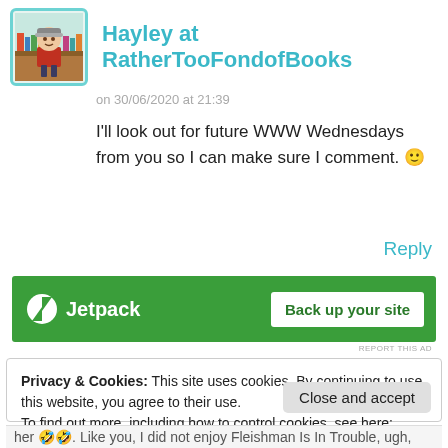[Figure (illustration): Cartoon avatar of a person in red jacket and winter hat standing in front of bookshelves, rounded square with teal border]
Hayley at RatherTooFondofBooks
on 30/06/2020 at 21:39
I'll look out for future WWW Wednesdays from you so I can make sure I comment. 🙂
Reply
[Figure (screenshot): Jetpack advertisement banner with green background showing Jetpack logo and 'Back up your site' button]
REPORT THIS AD
Privacy & Cookies: This site uses cookies. By continuing to use this website, you agree to their use.
To find out more, including how to control cookies, see here:
Cookie Policy
Close and accept
her 🤣🤣. Like you, I did not enjoy Fleishman Is In Trouble, ugh,